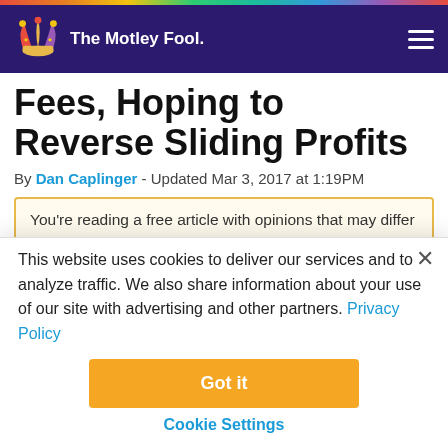The Motley Fool
Fees, Hoping to Reverse Sliding Profits
By Dan Caplinger - Updated Mar 3, 2017 at 1:19PM
You're reading a free article with opinions that may differ
This website uses cookies to deliver our services and to analyze traffic. We also share information about your use of our site with advertising and other partners. Privacy Policy
Got it
Cookie Settings